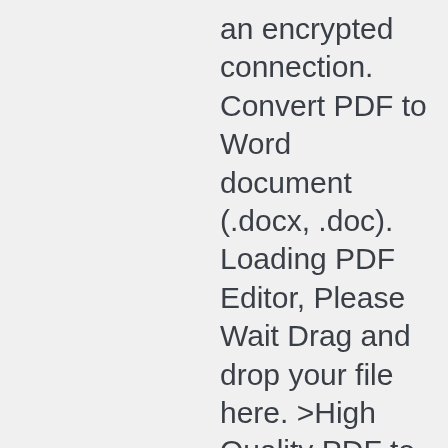an encrypted connection. Convert PDF to Word document (.docx, .doc). Loading PDF Editor, Please Wait Drag and drop your file here. >High Quality PDF to Word (DOC) Converter - No watermarks, no sign up required. DOC is a word processing file created by Microsoft. This files format turns a plain-text format into a formatted document. Plus, you can use our online tool without downloading any software. Data Security. Free online PDF conversion. Why convert from PDF to Microsoft Word? Easy, it makes your PDF files editable! Upload your PDF document above. Choose the Microsoft Word